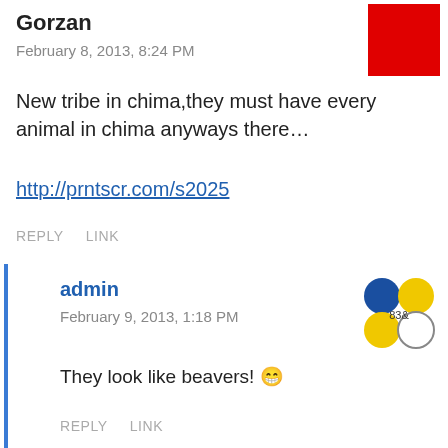Gorzan
February 8, 2013, 8:24 PM
New tribe in chima,they must have every animal in chima anyways there…
http://prntscr.com/s2025
REPLY   LINK
admin
February 9, 2013, 1:18 PM
They look like beavers! 😁
REPLY   LINK
Gorzan